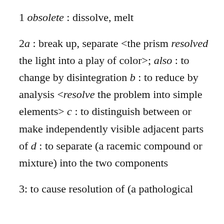1 obsolete : dissolve, melt
2a : break up, separate <the prism resolved the light into a play of color>; also : to change by disintegration b : to reduce by analysis <resolve the problem into simple elements> c : to distinguish between or make independently visible adjacent parts of d : to separate (a racemic compound or mixture) into the two components
3: to cause resolution of (a pathological